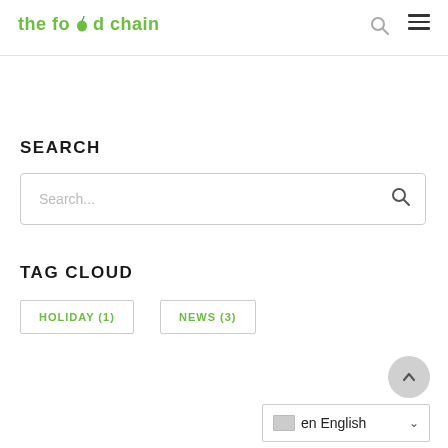the food chain
SEARCH
Search...
TAG CLOUD
HOLIDAY (1)
NEWS (3)
English